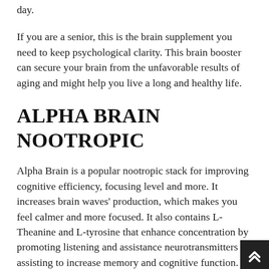day.
If you are a senior, this is the brain supplement you need to keep psychological clarity. This brain booster can secure your brain from the unfavorable results of aging and might help you live a long and healthy life.
ALPHA BRAIN NOOTROPIC
Alpha Brain is a popular nootropic stack for improving cognitive efficiency, focusing level and more. It increases brain waves' production, which makes you feel calmer and more focused. It also contains L-Theanine and L-tyrosine that enhance concentration by promoting listening and assistance neurotransmitters assisting to increase memory and cognitive function. It includes no caffeine. According to research, this nootropic has actually considerably improved verbal working memory, but it seems that